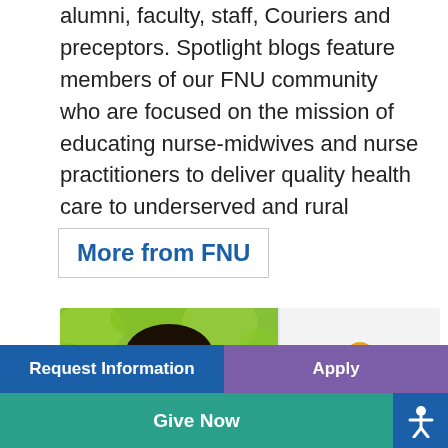alumni, faculty, staff, Couriers and preceptors. Spotlight blogs feature members of our FNU community who are focused on the mission of educating nurse-midwives and nurse practitioners to deliver quality health care to underserved and rural populations.
More from FNU
[Figure (photo): Photo of a smiling person with short dark hair against a green leafy background]
[Figure (illustration): Icon graphic showing a group of people figures in pink/magenta and yellow/orange colors]
Request Information | Apply | Give Now